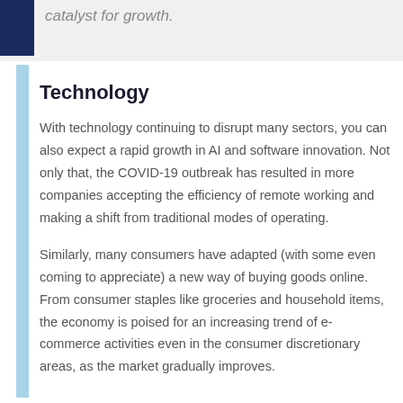catalyst for growth.
Technology
With technology continuing to disrupt many sectors, you can also expect a rapid growth in AI and software innovation. Not only that, the COVID-19 outbreak has resulted in more companies accepting the efficiency of remote working and making a shift from traditional modes of operating.
Similarly, many consumers have adapted (with some even coming to appreciate) a new way of buying goods online. From consumer staples like groceries and household items, the economy is poised for an increasing trend of e-commerce activities even in the consumer discretionary areas, as the market gradually improves.